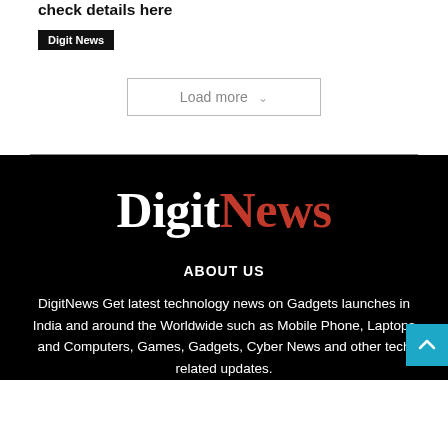check details here
Digit News
Load more
[Figure (logo): DigitNews logo with 'Digit' in white and 'News' in red/crimson, serif font, on black background]
ABOUT US
DigitNews Get latest technology news on Gadgets launches in India and around the Worldwide such as Mobile Phone, Laptops and Computers, Games, Gadgets, Cyber News and other tech related updates.